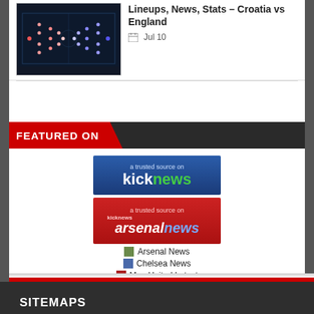[Figure (screenshot): Tactical formation diagram showing Croatia vs England lineups on a dark football pitch background]
Lineups, News, Stats – Croatia vs England
Jul 10
[Figure (infographic): Featured On banner with red and dark sections]
[Figure (logo): kicknews badge - a trusted source on kicknews]
[Figure (logo): arsenal news badge - a trusted source on kicknews arsenalnews]
Arsenal News
Chelsea News
Man United Latest
SITEMAPS